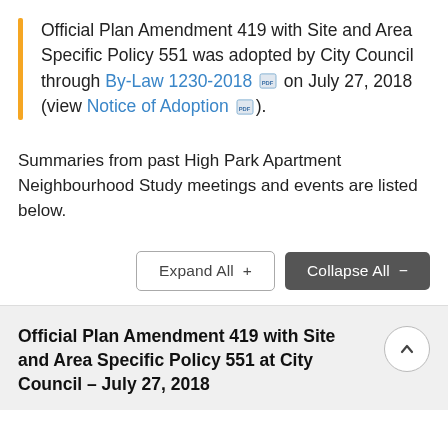Official Plan Amendment 419 with Site and Area Specific Policy 551 was adopted by City Council through By-Law 1230-2018 [PDF] on July 27, 2018 (view Notice of Adoption [PDF]).
Summaries from past High Park Apartment Neighbourhood Study meetings and events are listed below.
Expand All +   Collapse All −
Official Plan Amendment 419 with Site and Area Specific Policy 551 at City Council – July 27, 2018